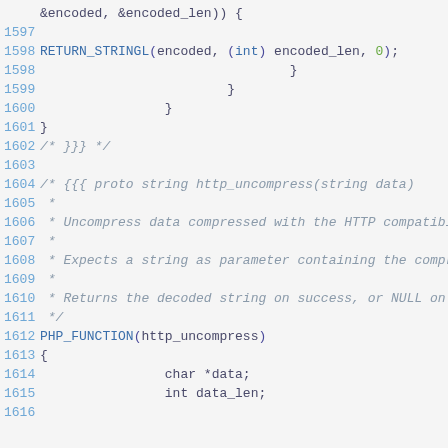Code snippet showing C source lines 1597-1616 including RETURN_STRINGL macro, closing braces, comment block for http_uncompress function documentation, PHP_FUNCTION(http_uncompress) declaration, and variable declarations char *data and int data_len.